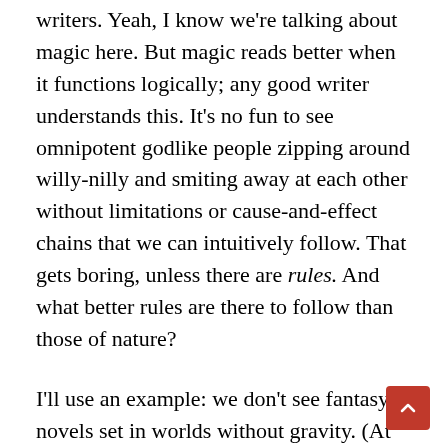writers. Yeah, I know we're talking about magic here. But magic reads better when it functions logically; any good writer understands this. It's no fun to see omnipotent godlike people zipping around willy-nilly and smiting away at each other without limitations or cause-and-effect chains that we can intuitively follow. That gets boring, unless there are rules. And what better rules are there to follow than those of nature?
I'll use an example: we don't see fantasy novels set in worlds without gravity. (At least I haven't seen any.) If we did see such a world, I think readers would reject it unless the author worked really hard to explain it. This is because we know, almost instinctively, that any mass has gravity. Therefore don't question the notion that gravity should affect